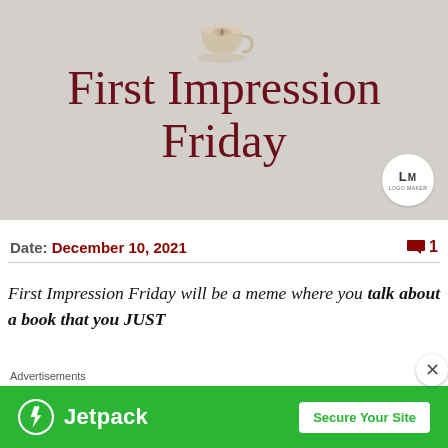[Figure (illustration): First Impression Friday blog header image: light gray background with a coffee cup latte art at top center, large dark red cursive script text reading 'First Impression Friday', and a circular Logo Maker watermark in the bottom right corner.]
Date: December 10, 2021   💬 1
First Impression Friday will be a meme where you talk about a book that you JUST
Advertisements
[Figure (screenshot): Jetpack advertisement banner: green background with Jetpack logo (lightning bolt icon) and wordmark on the left, white 'Secure Your Site' button on the right.]